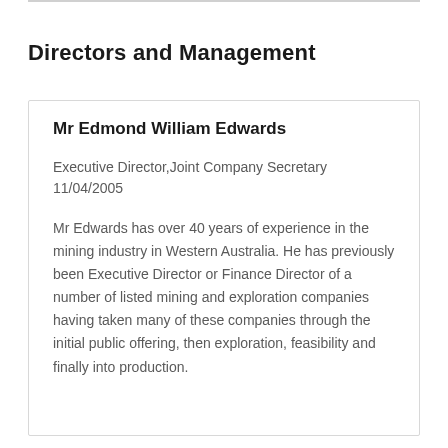Directors and Management
Mr Edmond William Edwards
Executive Director,Joint Company Secretary
11/04/2005
Mr Edwards has over 40 years of experience in the mining industry in Western Australia. He has previously been Executive Director or Finance Director of a number of listed mining and exploration companies having taken many of these companies through the initial public offering, then exploration, feasibility and finally into production.